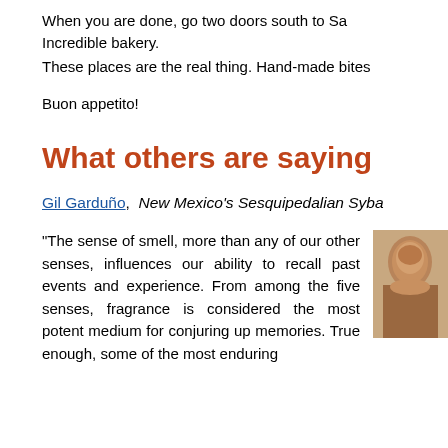When you are done, go two doors south to Sa Incredible bakery.
These places are the real thing. Hand-made bites
Buon appetito!
What others are saying
Gil Garduño,  New Mexico's Sesquipedalian Syba
“The sense of smell, more than any of our other senses, influences our ability to recall past events and experience. From among the five senses, fragrance is considered the most potent medium for conjuring up memories. True enough, some of the most enduring
[Figure (photo): Portrait photo of Gil Garduño, partially cropped on the right edge of the page]